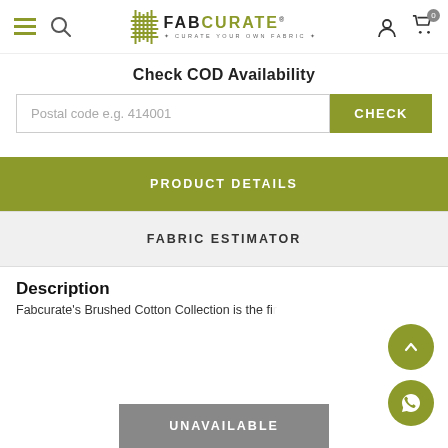FabCurate - Curate Your Own Fabric
Check COD Availability
Postal code e.g. 414001
PRODUCT DETAILS
FABRIC ESTIMATOR
Description
Fabcurate's Brushed Cotton Collection is the fi...
UNAVAILABLE